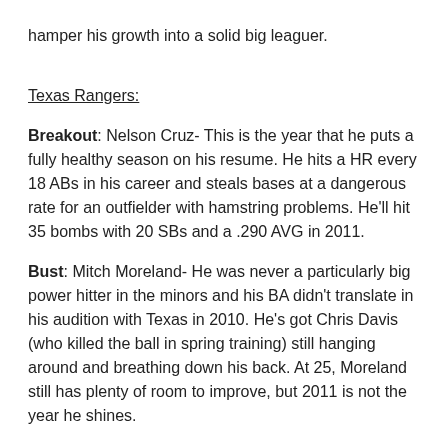hamper his growth into a solid big leaguer.
Texas Rangers:
Breakout: Nelson Cruz- This is the year that he puts a fully healthy season on his resume. He hits a HR every 18 ABs in his career and steals bases at a dangerous rate for an outfielder with hamstring problems. He'll hit 35 bombs with 20 SBs and a .290 AVG in 2011.
Bust: Mitch Moreland- He was never a particularly big power hitter in the minors and his BA didn't translate in his audition with Texas in 2010. He's got Chris Davis (who killed the ball in spring training) still hanging around and breathing down his back. At 25, Moreland still has plenty of room to improve, but 2011 is not the year he shines.